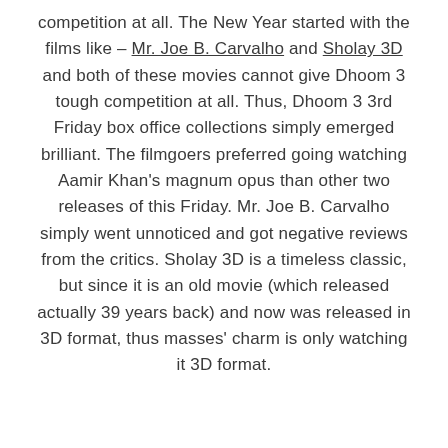competition at all. The New Year started with the films like – Mr. Joe B. Carvalho and Sholay 3D and both of these movies cannot give Dhoom 3 tough competition at all. Thus, Dhoom 3 3rd Friday box office collections simply emerged brilliant. The filmgoers preferred going watching Aamir Khan's magnum opus than other two releases of this Friday. Mr. Joe B. Carvalho simply went unnoticed and got negative reviews from the critics. Sholay 3D is a timeless classic, but since it is an old movie (which released actually 39 years back) and now was released in 3D format, thus masses' charm is only watching it 3D format.